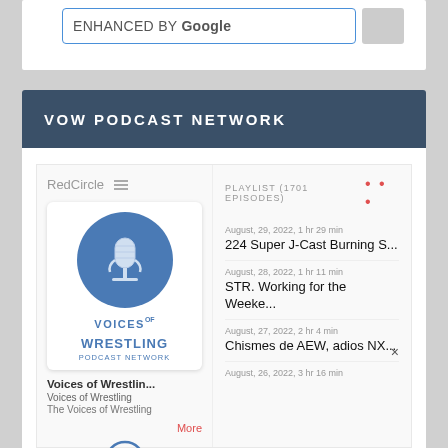ENHANCED BY Google
VOW PODCAST NETWORK
[Figure (screenshot): RedCircle podcast widget showing Voices of Wrestling Podcast Network with playlist of 1701 episodes]
Voices of Wrestlin...
Voices of Wrestling
The Voices of Wrestling
More
PLAYLIST (1701 EPISODES)
August, 29, 2022, 1 hr 29 min
224 Super J-Cast Burning S...
August, 28, 2022, 1 hr 11 min
STR. Working for the Weeke...
August, 27, 2022, 2 hr 4 min
Chismes de AEW, adios NX...
August, 26, 2022, 3 hr 16 min